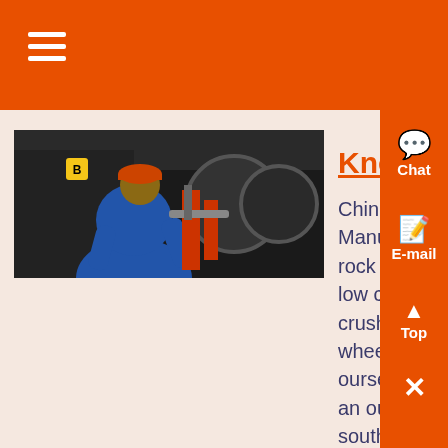[Figure (photo): Worker in blue jacket working on industrial machinery in a dark workshop setting]
Know More
China Small Mini Mobile Crusher Suppliers Manufacturers Mini mobile crusher plant for rock stone concrete small wheeled diesel with low costs we manufacture mini mobile crusher plant for rock stone concrete small wheeled diesel with low costs we devote ourselves to mining machinery many years and our machines have been exported to south asia south america africa middle east and some other are